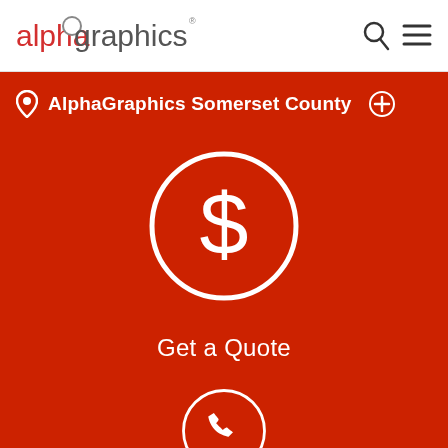[Figure (logo): AlphaGraphics logo with red 'alpha' text and gray 'graphics' text]
[Figure (other): Search icon (magnifying glass) and hamburger menu icon in header]
AlphaGraphics Somerset County
[Figure (other): Dollar sign icon in white circle on red background]
Get a Quote
[Figure (other): Phone handset icon in white circle on red background, partially visible at bottom]